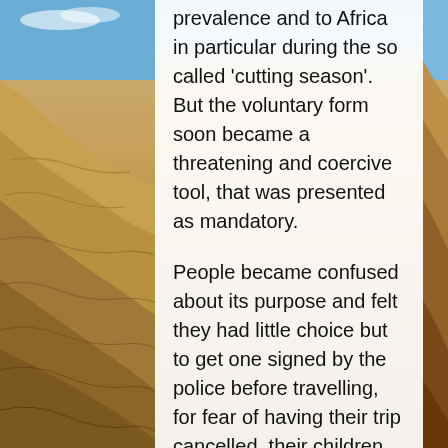[Figure (photo): Desert sand dunes with blue sky background, serving as a decorative page background behind a semi-transparent white text panel.]
prevalence and to Africa in particular during the so called 'cutting season'. But the voluntary form soon became a threatening and coercive tool, that was presented as mandatory.

People became confused about its purpose and felt they had little choice but to get one signed by the police before travelling, for fear of having their trip cancelled, their children questioned or removed.

Travelling became a fearful experience for families. Taking holidays overseas was a major expense, and they feared saying